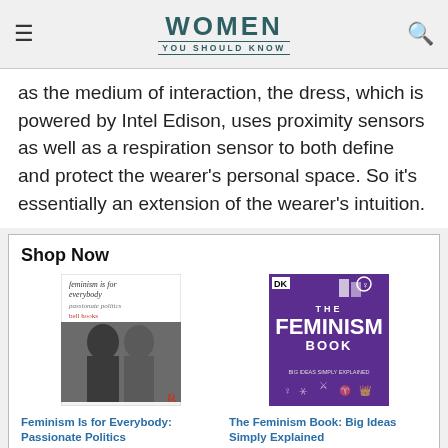WOMEN YOU SHOULD KNOW
as the medium of interaction, the dress, which is powered by Intel Edison, uses proximity sensors as well as a respiration sensor to both define and protect the wearer's personal space. So it's essentially an extension of the wearer's intuition.
Shop Now
[Figure (photo): Book cover: Feminism Is for Everybody: Passionate Politics by bell hooks]
Feminism Is for Everybody: Passionate Politics
$25.56  $31.95  prime  (583)
[Figure (photo): Book cover: The Feminism Book: Big Ideas Simply Explained (DK)]
The Feminism Book: Big Ideas Simply Explained
$9.99  (382)